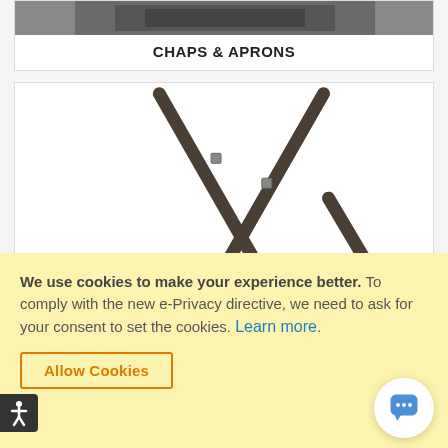[Figure (photo): Partial top of a chaps and aprons product image, dark colored protective garment]
CHAPS & APRONS
[Figure (photo): Dark gray/brown X-back suspenders with metal buckles shown against white background]
We use cookies to make your experience better. To comply with the new e-Privacy directive, we need to ask for your consent to set the cookies. Learn more.
Allow Cookies